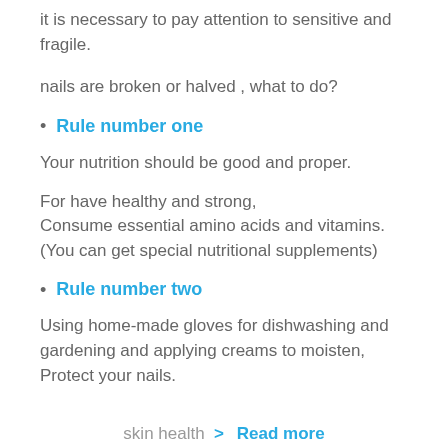it is necessary to pay attention to sensitive and fragile.
nails are broken or halved , what to do?
Rule number one
Your nutrition should be good and proper.
For have healthy and strong,
Consume essential amino acids and vitamins.
(You can get special nutritional supplements)
Rule number two
Using home-made gloves for dishwashing and gardening and applying creams to moisten,
Protect your nails.
skin health  > Read more